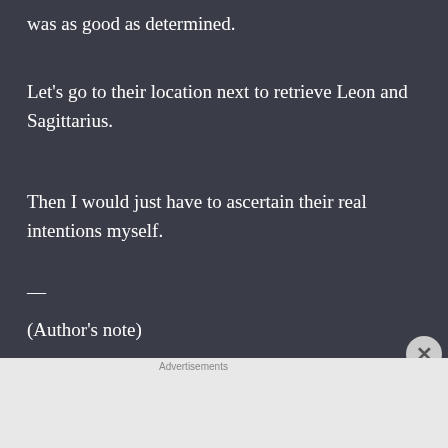was as good as determined.
Let’s go to their location next to retrieve Leon and Sagittarius.
Then I would just have to ascertain their real intentions myself.
—
(Author’s note)
[Figure (other): Advertisement banner for Ulta Beauty showing makeup photos (lips, brush, eye, Ulta logo, eye) with SHOP NOW button]